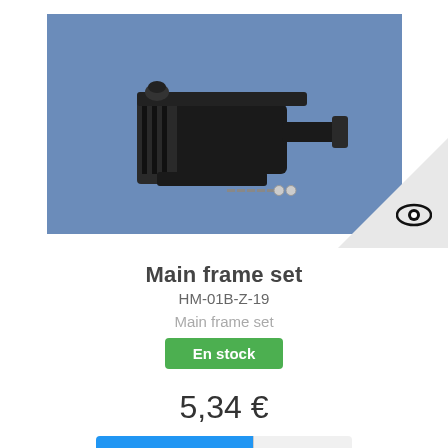[Figure (photo): Product photo of a black main frame set (helicopter/drone part) with screws and washers, displayed on a blue background.]
Main frame set
HM-01B-Z-19
Main frame set
En stock
5,34 €
Add to cart
More